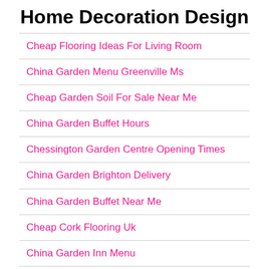Home Decoration Design
Cheap Flooring Ideas For Living Room
China Garden Menu Greenville Ms
Cheap Garden Soil For Sale Near Me
China Garden Buffet Hours
Chessington Garden Centre Opening Times
China Garden Brighton Delivery
China Garden Buffet Near Me
Cheap Cork Flooring Uk
China Garden Inn Menu
Cheap Garden Furniture Sets
China Garden Inn Willow Grove Pa Menu